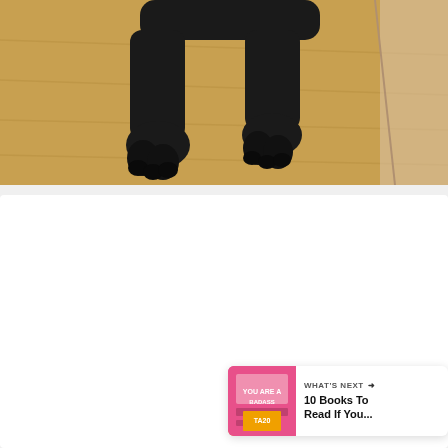[Figure (photo): Photo of a black dog's legs and paws on a light wood floor, viewed from above. The dog appears to be a large breed with black fur. The background shows light hardwood flooring.]
[Figure (screenshot): White card area with social interaction UI elements: a teal/green heart button, a count showing '1', and a share button with a network icon. Three pagination dots appear in the center. A 'What's Next' card appears in the bottom right corner showing '10 Books To Read If You...' with a book cover thumbnail.]